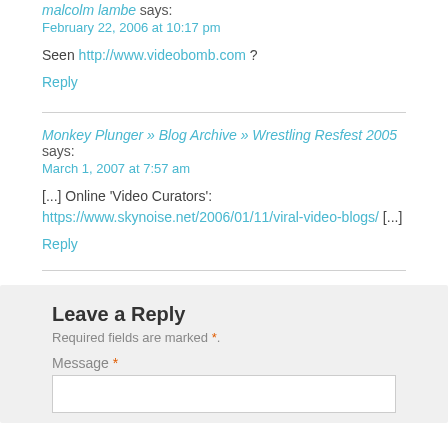malcolm lambe says:
February 22, 2006 at 10:17 pm
Seen http://www.videobomb.com ?
Reply
Monkey Plunger » Blog Archive » Wrestling Resfest 2005 says:
March 1, 2007 at 7:57 am
[...] Online 'Video Curators': https://www.skynoise.net/2006/01/11/viral-video-blogs/ [...]
Reply
Leave a Reply
Required fields are marked *.
Message *